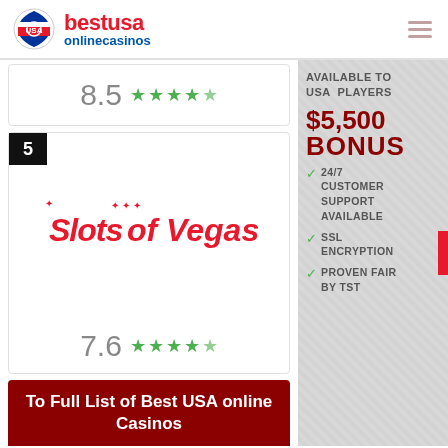bestusa onlinecasinos
8.5 (rating with 4.5 stars)
5
[Figure (logo): Slots of Vegas casino logo in red italic text]
7.6 (rating with 4 stars)
AVAILABLE TO USA PLAYERS
[Figure (other): $5,500 BONUS promotional text in dark red]
24/7 CUSTOMER SUPPORT AVAILABLE
SSL ENCRYPTION
PROVEN FAIR BY TST
To Full List of Best USA online Casinos